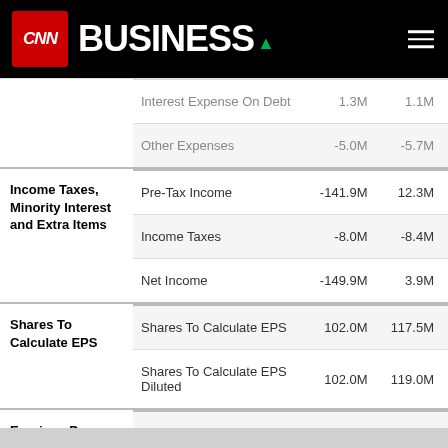CNN BUSINESS
| Category | Line Item | Col1 | Col2 |
| --- | --- | --- | --- |
|  | Interest Expense On Debt | 1.3M | 1.1M |
|  | Other Expenses | -5.0M | -5.7M |
| Income Taxes, Minority Interest and Extra Items | Pre-Tax Income | -141.9M | 12.3M |
| Income Taxes, Minority Interest and Extra Items | Income Taxes | -8.0M | -8.4M |
| Income Taxes, Minority Interest and Extra Items | Net Income | -149.9M | 3.9M |
| Shares To Calculate EPS | Shares To Calculate EPS | 102.0M | 117.5M |
| Shares To Calculate EPS | Shares To Calculate EPS Diluted | 102.0M | 119.0M |
| Earnings Per Share | EPS | -$1.47 | $0.03 |
| Earnings Per Share | EPS Diluted | -$1.47 | $0.03 |